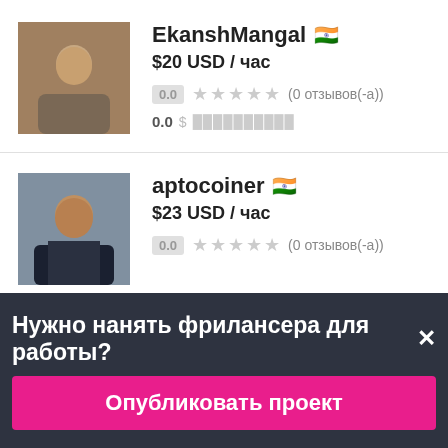[Figure (photo): Profile photo of EkanshMangal, male with brown skin, wearing grey shirt]
EkanshMangal 🇮🇳
$20 USD / час
0.0 ★★★★★ (0 отзывов(-а))
0.0 $ ██████████
[Figure (photo): Profile photo of aptocoiner, male with dark hair, wearing dark suit]
aptocoiner 🇮🇳
$23 USD / час
0.0 ★★★★★ (0 отзывов(-а))
Нужно нанять фрилансера для работы?✕
Опубликовать проект